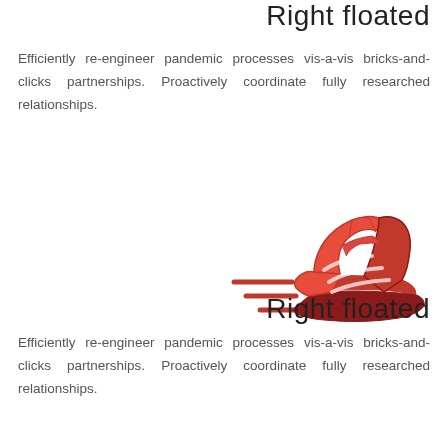Right floated
Efficiently re-engineer pandemic processes vis-a-vis bricks-and-clicks partnerships. Proactively coordinate fully researched relationships.
[Figure (illustration): Red line-art illustration of a running shoe/sneaker with motion lines to the left, depicted in shades of red and dark red.]
Right floated
Efficiently re-engineer pandemic processes vis-a-vis bricks-and-clicks partnerships. Proactively coordinate fully researched relationships.